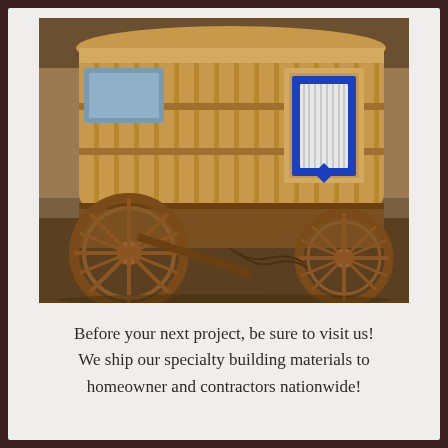[Figure (photo): A wooden gypsy-style wagon or caravan under construction, mounted on large spoked wooden wheels, photographed inside a workshop. The wagon has a curved roof, wood-framed paneled sides, and a decorative stained-glass blue and white window panel on the side.]
Before your next project, be sure to visit us! We ship our specialty building materials to homeowner and contractors nationwide!